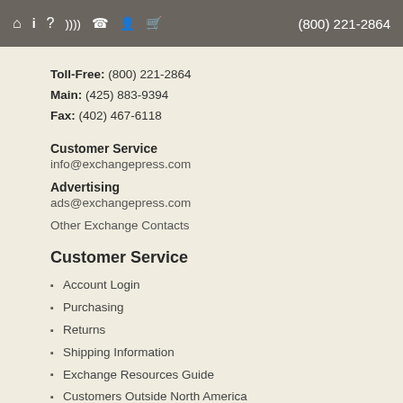🏠 ℹ ? RSS ☎ 👤 🛒  (800) 221-2864
Toll-Free: (800) 221-2864
Main: (425) 883-9394
Fax: (402) 467-6118
Customer Service
info@exchangepress.com
Advertising
ads@exchangepress.com
Other Exchange Contacts
Customer Service
Account Login
Purchasing
Returns
Shipping Information
Exchange Resources Guide
Customers Outside North America
FAQs
About Exchange Press